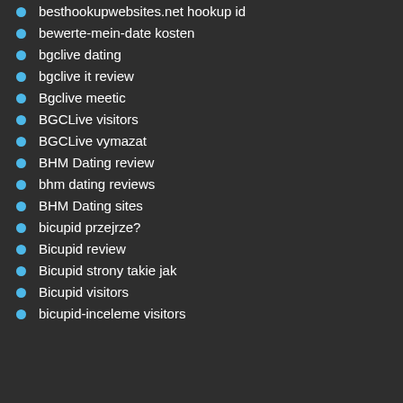besthookupwebsites.net hookup id
bewerte-mein-date kosten
bgclive dating
bgclive it review
Bgclive meetic
BGCLive visitors
BGCLive vymazat
BHM Dating review
bhm dating reviews
BHM Dating sites
bicupid przejrze?
Bicupid review
Bicupid strony takie jak
Bicupid visitors
bicupid-inceleme visitors